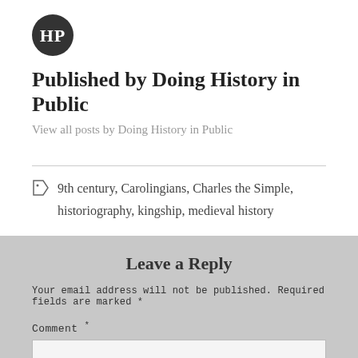[Figure (logo): Circular logo with letters HP in a decorative monogram style, dark background]
Published by Doing History in Public
View all posts by Doing History in Public
9th century, Carolingians, Charles the Simple, historiography, kingship, medieval history
Leave a Reply
Your email address will not be published. Required fields are marked *
Comment *